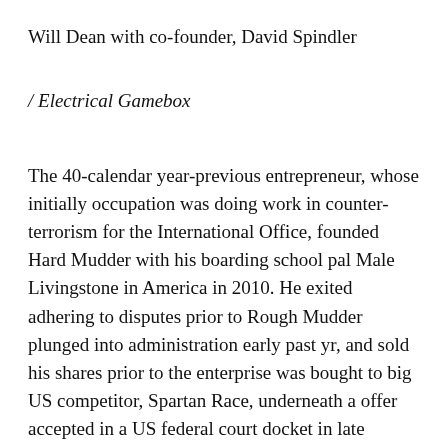Will Dean with co-founder, David Spindler
/ Electrical Gamebox
The 40-calendar year-previous entrepreneur, whose initially occupation was doing work in counter-terrorism for the International Office, founded Hard Mudder with his boarding school pal Male Livingstone in America in 2010. He exited adhering to disputes prior to Rough Mudder plunged into administration early past yr, and sold his shares prior to the enterprise was bought to big US competitor, Spartan Race, underneath a offer accepted in a US federal court docket in late